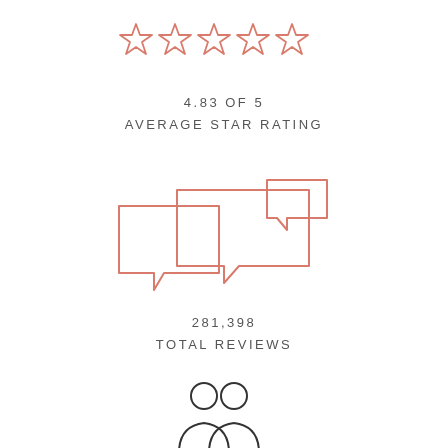[Figure (infographic): Five outlined star icons in salmon/rose color representing a 5-star rating]
4.83 OF 5
AVERAGE STAR RATING
[Figure (infographic): Two overlapping speech bubble / chat bubble icons in salmon/rose color representing reviews]
281,398
TOTAL REVIEWS
[Figure (infographic): Two overlapping person/user silhouette icons in dark outline representing people/customers]